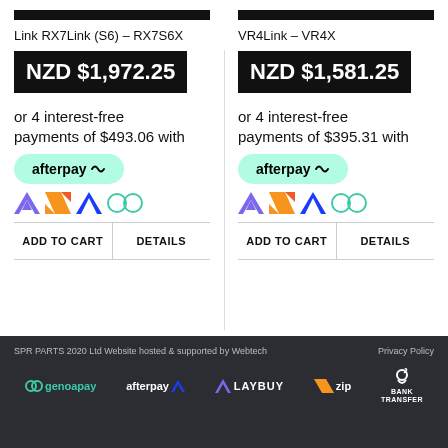Link RX7Link (S6) – RX7S6X
NZD $1,972.25
or 4 interest-free payments of $493.06 with afterpay
ADD TO CART
DETAILS
VR4Link – VR4X
NZD $1,581.25
or 4 interest-free payments of $395.31 with afterpay
ADD TO CART
DETAILS
SPR PARTS 2020 Ltd Website hosted & supported by Webtech   Privacy Policy